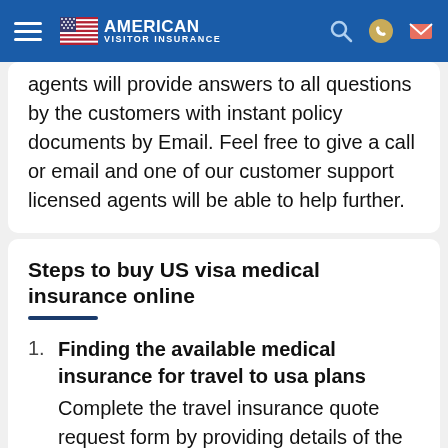American Visitor Insurance
agents will provide answers to all questions by the customers with instant policy documents by Email. Feel free to give a call or email and one of our customer support licensed agents will be able to help further.
Steps to buy US visa medical insurance online
Finding the available medical insurance for travel to usa plans — Complete the travel insurance quote request form by providing details of the traveler and insurance requirements
(item 2, partially visible)